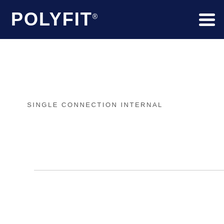POLYFIT
SINGLE CONNECTION INTERNAL